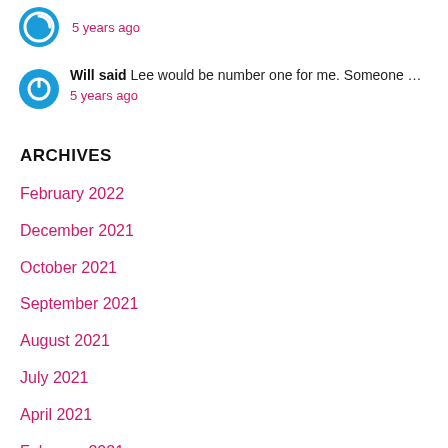5 years ago
Will said Lee would be number one for me. Someone …
5 years ago
ARCHIVES
February 2022
December 2021
October 2021
September 2021
August 2021
July 2021
April 2021
February 2021